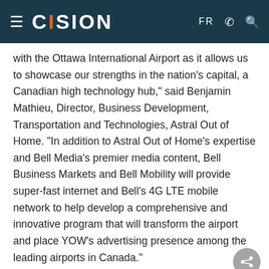CISION  FR
with the Ottawa International Airport as it allows us to showcase our strengths in the nation's capital, a Canadian high technology hub," said Benjamin Mathieu, Director, Business Development, Transportation and Technologies, Astral Out of Home. "In addition to Astral Out of Home's expertise and Bell Media's premier media content, Bell Business Markets and Bell Mobility will provide super-fast internet and Bell's 4G LTE mobile network to help develop a comprehensive and innovative program that will transform the airport and place YOW's advertising presence among the leading airports in Canada."
"The Ottawa International Airport Authority's key